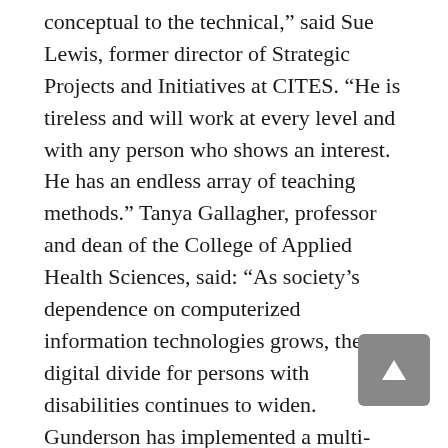conceptual to the technical," said Sue Lewis, former director of Strategic Projects and Initiatives at CITES. "He is tireless and will work at every level and with any person who shows an interest. He has an endless array of teaching methods." Tanya Gallagher, professor and dean of the College of Applied Health Sciences, said: "As society's dependence on computerized information technologies grows, the digital divide for persons with disabilities continues to widen. Gunderson has implemented a multi-pronged approach to addressing this problem." Gunderson has served on the Accessibility Guidelines Committee of the World Wide Web Consortium. He led the group in the development of accessibility guidelines for browser technologies such as Internet Explorer and Netscape Navigator. "No professional has been more instrumental in promoting accessibility than Jon Gunderson," said Elyne Cole, associate provost for human resources.